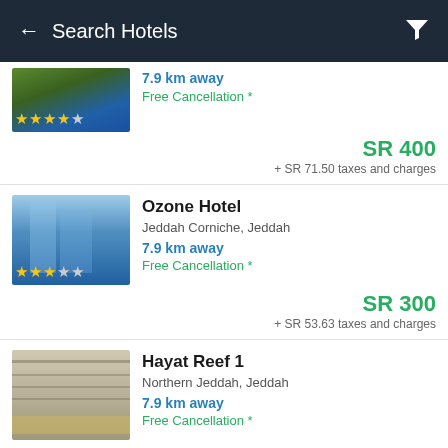Search Hotels
[Figure (screenshot): Partial hotel listing with 4.5 stars, 7.9 km away, Free Cancellation *, SR 400, + SR 71.50 taxes and charges]
[Figure (screenshot): Ozone Hotel, Jeddah Corniche Jeddah, 7.9 km away, Free Cancellation *, SR 300, + SR 53.63 taxes and charges]
[Figure (screenshot): Hayat Reef 1, Northern Jeddah Jeddah, 7.9 km away, Free Cancellation *, SR 250, + SR 44.69 taxes and charges]